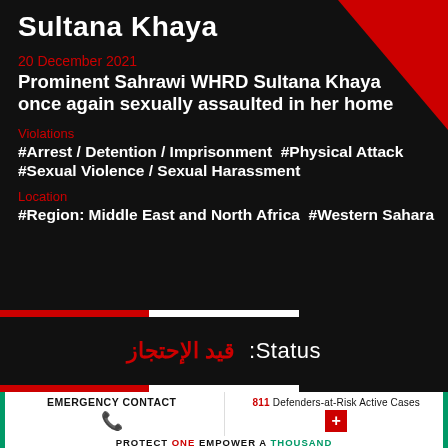Sultana Khaya
20 December 2021
Prominent Sahrawi WHRD Sultana Khaya once again sexually assaulted in her home
Violations
#Arrest / Detention / Imprisonment  #Physical Attack #Sexual Violence / Sexual Harassment
Location
#Region: Middle East and North Africa  #Western Sahara
Status: قيد الإحتجاز
EMERGENCY CONTACT
811 Defenders-at-Risk Active Cases
PROTECT ONE EMPOWER A THOUSAND